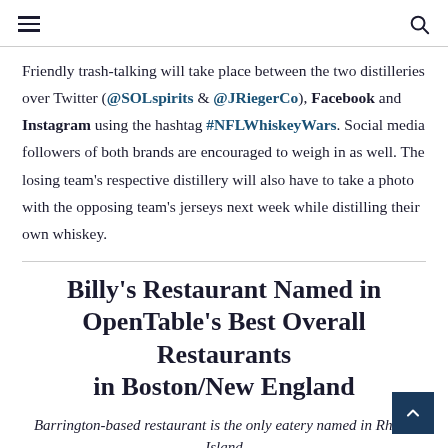≡  🔍
Friendly trash-talking will take place between the two distilleries over Twitter (@SOLspirits & @JRiegerCo), Facebook and Instagram using the hashtag #NFLWhiskeyWars. Social media followers of both brands are encouraged to weigh in as well. The losing team's respective distillery will also have to take a photo with the opposing team's jerseys next week while distilling their own whiskey.
Billy's Restaurant Named in OpenTable's Best Overall Restaurants in Boston/New England
Barrington-based restaurant is the only eatery named in Rhode Island
Billy's, located at 286 Maple Avenue in Barrington, has been named OpenTable's Best Restaurants in Boston/New England diners' choice